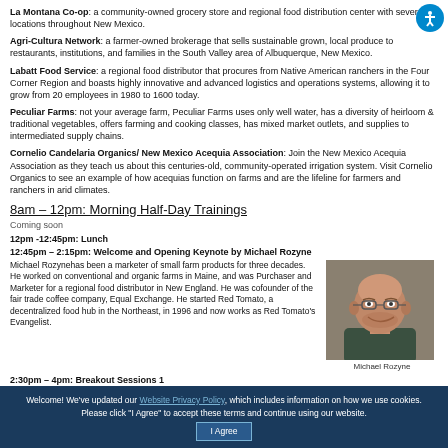La Montana Co-op: a community-owned grocery store and regional food distribution center with several locations throughout New Mexico.
Agri-Cultura Network: a farmer-owned brokerage that sells sustainable grown, local produce to restaurants, institutions, and families in the South Valley area of Albuquerque, New Mexico.
Labatt Food Service: a regional food distributor that procures from Native American ranchers in the Four Corner Region and boasts highly innovative and advanced logistics and operations systems, allowing it to grow from 20 employees in 1980 to 1600 today.
Peculiar Farms: not your average farm, Peculiar Farms uses only well water, has a diversity of heirloom & traditional vegetables, offers farming and cooking classes, has mixed market outlets, and supplies to intermediated supply chains.
Cornelio Candelaria Organics/ New Mexico Acequia Association: Join the New Mexico Acequia Association as they teach us about this centuries-old, community-operated irrigation system. Visit Cornelio Organics to see an example of how acequias function on farms and are the lifeline for farmers and ranchers in arid climates.
8am – 12pm: Morning Half-Day Trainings
Coming soon
12pm -12:45pm: Lunch
12:45pm – 2:15pm: Welcome and Opening Keynote by Michael Rozyne
Michael Rozynehas been a marketer of small farm products for three decades. He worked on conventional and organic farms in Maine, and was Purchaser and Marketer for a regional food distributor in New England. He was cofounder of the fair trade coffee company, Equal Exchange. He started Red Tomato, a decentralized food hub in the Northeast, in 1996 and now works as Red Tomato's Evangelist.
[Figure (photo): Portrait photo of Michael Rozyne, a smiling bald man with glasses and a dark green shirt]
Michael Rozyne
2:30pm – 4pm: Breakout Sessions 1
4:15pm – 5:45pm: Breakout Sessions 2
6pm -8pm: Dinner and Welcome from Don Bustos
Welcome! We've updated our Website Privacy Policy, which includes information on how we use cookies. Please click "I Agree" to accept these terms and continue using our website. I Agree